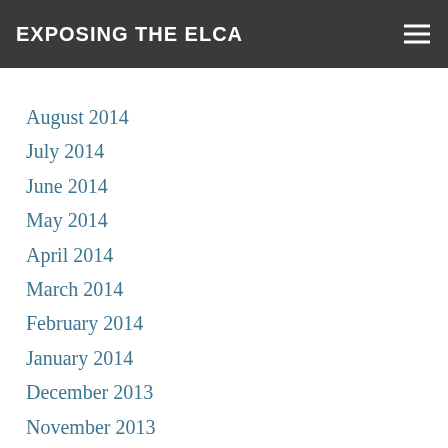EXPOSING THE ELCA
October 2014
August 2014
July 2014
June 2014
May 2014
April 2014
March 2014
February 2014
January 2014
December 2013
November 2013
October 2013
September 2013
August 2013
July 2013
June 2013
May 2013
April 2013